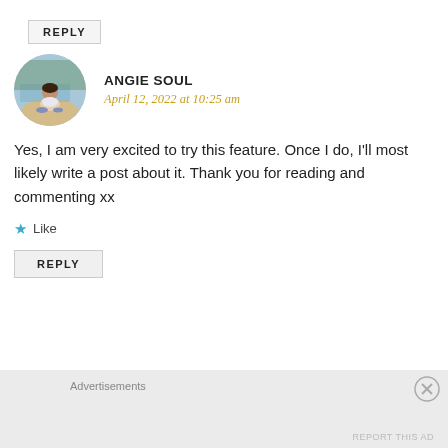REPLY
[Figure (photo): Circular avatar photo of Angie Soul, a woman sitting outdoors near water with trees in background]
ANGIE SOUL
April 12, 2022 at 10:25 am
Yes, I am very excited to try this feature. Once I do, I'll most likely write a post about it. Thank you for reading and commenting xx
★ Like
REPLY
Advertisements
REPORT THIS AD